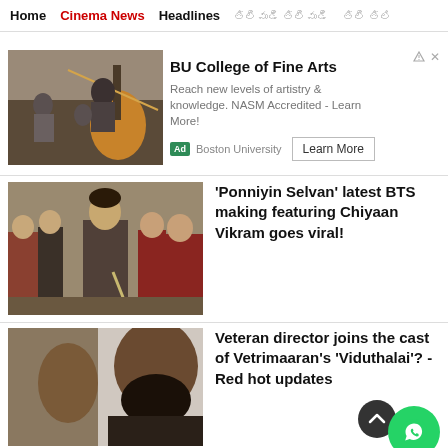Home  Cinema News  Headlines  [Tamil Nav] [Tamil Nav]
[Figure (photo): Musicians playing string instruments (cellos/violins) in an orchestra setting]
BU College of Fine Arts
Reach new levels of artistry & knowledge. NASM Accredited - Learn More!
Ad  Boston University  Learn More
[Figure (photo): Scene from Ponniyin Selvan BTS making featuring Chiyaan Vikram with warriors]
'Ponniyin Selvan' latest BTS making featuring Chiyaan Vikram goes viral!
[Figure (photo): Portrait of veteran director with beard]
Veteran director joins the cast of Vetrimaaran's 'Viduthalai'? - Red hot updates